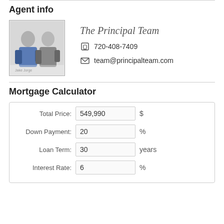Agent info
[Figure (photo): Photo of two men in business attire (The Principal Team)]
The Principal Team
720-408-7409
team@principalteam.com
Mortgage Calculator
| Field | Value | Unit |
| --- | --- | --- |
| Total Price: | 549,990 | $ |
| Down Payment: | 20 | % |
| Loan Term: | 30 | years |
| Interest Rate: | 6 | % |